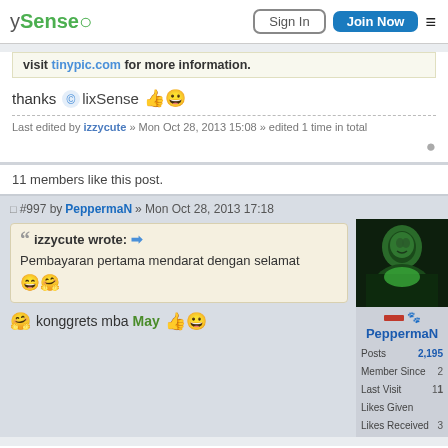ySense | Sign In | Join Now
Visit tinypic.com for more information.
thanks ClixSense 👍😀
Last edited by izzycute » Mon Oct 28, 2013 15:08 » edited 1 time in total
11 members like this post.
#997 by PeppermaN » Mon Oct 28, 2013 17:18
izzycute wrote: → Pembayaran pertama mendarat dengan selamat 😄🤗
🤗 konggrets mba May 👍😀
PeppermaN — Posts 2,195 | Member Since | Last Visit | Likes Given | Likes Received 3